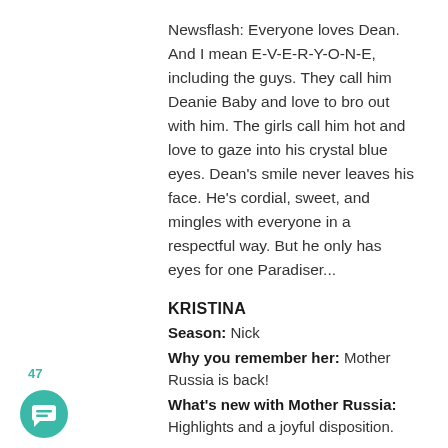Newsflash: Everyone loves Dean. And I mean E-V-E-R-Y-O-N-E, including the guys. They call him Deanie Baby and love to bro out with him. The girls call him hot and love to gaze into his crystal blue eyes. Dean's smile never leaves his face. He's cordial, sweet, and mingles with everyone in a respectful way. But he only has eyes for one Paradiser...
KRISTINA
Season: Nick
Why you remember her: Mother Russia is back!
What's new with Mother Russia: Highlights and a joyful disposition.
Mother Russia rocks a romper on the beach. Dean immediately pulls her away
47